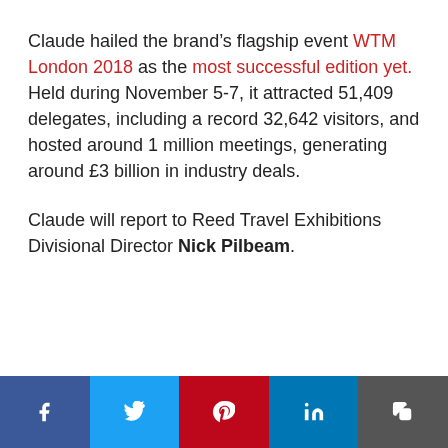Claude hailed the brand's flagship event WTM London 2018 as the most successful edition yet. Held during November 5-7, it attracted 51,409 delegates, including a record 32,642 visitors, and hosted around 1 million meetings, generating around £3 billion in industry deals.
Claude will report to Reed Travel Exhibitions Divisional Director Nick Pilbeam.
[Figure (infographic): Social media sharing bar with icons for Facebook, Twitter, Pinterest, LinkedIn, and Copy/Share. Each icon on a colored background: Facebook (dark blue), Twitter (light blue), Pinterest (red), LinkedIn (medium blue), Copy (dark gray).]